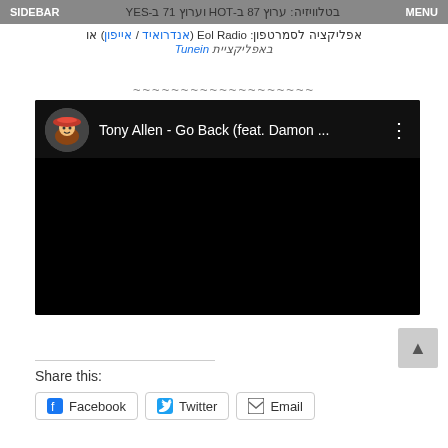SIDEBAR | בטלוויזיה: ערוץ 87 ב-HOT וערוץ 71 ב-YES | MENU
אפליקציה לסמרטפון: Eol Radio (אנדרואיד / אייפון) או באפליקציית Tunein
~~~~~~~~~~~~~~~~~~~
[Figure (screenshot): YouTube embedded video player showing Tony Allen - Go Back (feat. Damon ...) with black background and video title bar]
Share this:
Facebook
Twitter
Email